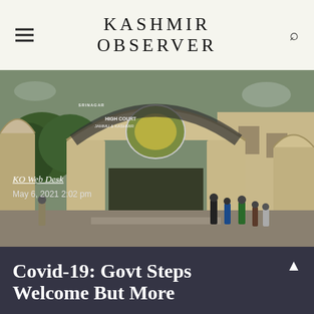KASHMIR OBSERVER
[Figure (photo): Entrance gate of High Court Srinagar, Jammu & Kashmir, with stone archways and people walking near the gate. Trees visible in background.]
KO Web Desk
May 6, 2021 2:02 pm
Covid-19: Govt Steps Welcome But More